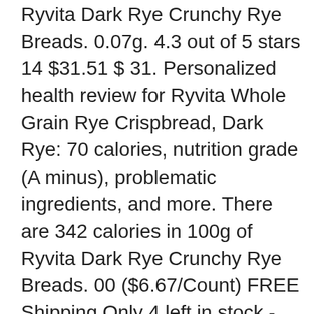Ryvita Dark Rye Crunchy Rye Breads. 0.07g. 4.3 out of 5 stars 14 $31.51 $ 31. Personalized health review for Ryvita Whole Grain Rye Crispbread, Dark Rye: 70 calories, nutrition grade (A minus), problematic ingredients, and more. There are 342 calories in 100g of Ryvita Dark Rye Crunchy Rye Breads. 00 ($6.67/Count) FREE Shipping Only 4 left in stock - order soon. nutrition chart, nutrition data, nutrition facts, nutrition label, nutrition information, nutritional information, nutrition value, nutritional value, macronutrients, nutrients. Please enable JavaScript on your browser to best view this site. Ryvita Crunch Ryvita Crunch - Dark Rye Serving Size : 2 slices 60 Cal 87 % 13g Carbs 0 %--Fat 13 % 2g Protein Log Food Daily Goals How does this food fit into your daily goals? Rye, per a